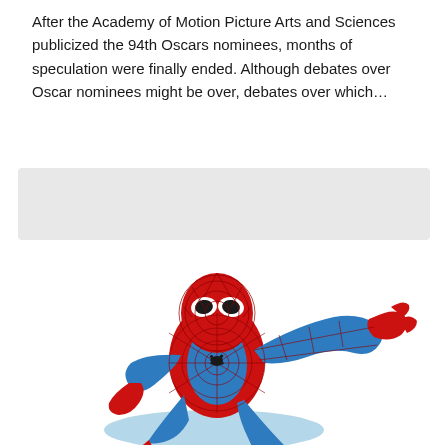After the Academy of Motion Picture Arts and Sciences publicized the 94th Oscars nominees, months of speculation were finally ended. Although debates over Oscar nominees might be over, debates over which...
[Figure (illustration): Gray placeholder box]
[Figure (illustration): Spider-Man cartoon illustration in classic red and blue costume, crouching pose with one arm extended]